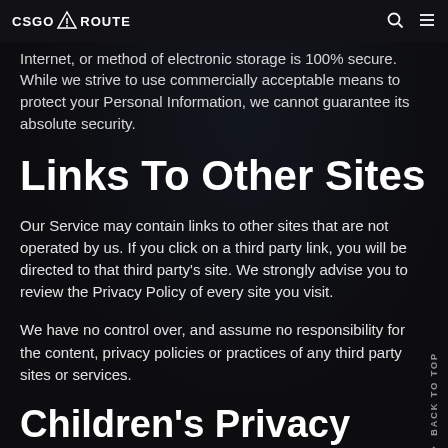CSGO ROUTE
The security of your Personal Information is important to us, but remember that no method of transmission over the Internet, or method of electronic storage is 100% secure. While we strive to use commercially acceptable means to protect your Personal Information, we cannot guarantee its absolute security.
Links To Other Sites
Our Service may contain links to other sites that are not operated by us. If you click on a third party link, you will be directed to that third party's site. We strongly advise you to review the Privacy Policy of every site you visit.
We have no control over, and assume no responsibility for the content, privacy policies or practices of any third party sites or services.
Children's Privacy